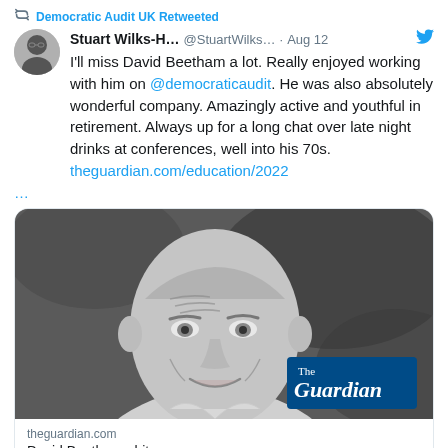Democratic Audit UK Retweeted
Stuart Wilks-H... @StuartWilks... · Aug 12
I'll miss David Beetham a lot. Really enjoyed working with him on @democraticaudit. He was also absolutely wonderful company. Amazingly active and youthful in retirement. Always up for a long chat over late night drinks at conferences, well into his 70s. theguardian.com/education/2022
...
[Figure (photo): Black and white photo of David Beetham, an elderly smiling man, with The Guardian logo overlay in bottom right]
theguardian.com
David Beetham obituary